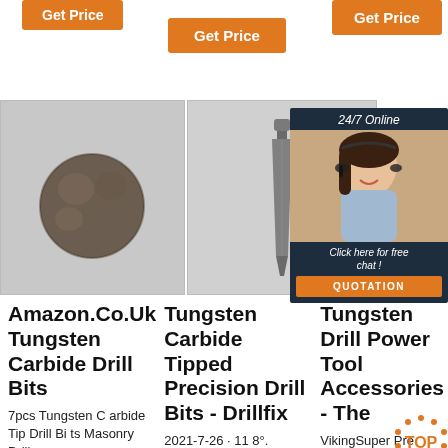[Figure (screenshot): Orange 'Get Price' button on the left side]
[Figure (screenshot): Orange 'Get Price' button in the center]
[Figure (screenshot): Orange 'Get Price' button on the right side]
[Figure (photo): Tungsten carbide drill bit tip, dark metallic, viewed from an angle]
[Figure (photo): Tungsten carbide drill bit, elongated metallic piece, viewed from front]
[Figure (screenshot): 24/7 Online chat widget with woman wearing headset, Click here for free chat, QUOTATION button]
Amazon.Co.Uk Tungsten Carbide Drill Bits
7pcs Tungsten Carbide Tip Drill Bits Masonry Drill
Tungsten Carbide Tipped Precision Drill Bits - Drillfix
2021-7-26 · 11 8°. Surface Treat
Tungsten Drill Power Tool Accessories - The
VikingSuper Premium Tungsten